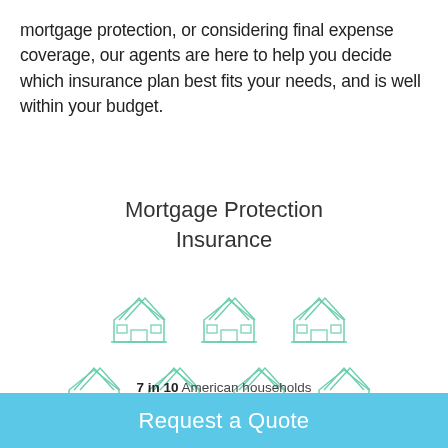mortgage protection, or considering final expense coverage, our agents are here to help you decide which insurance plan best fits your needs, and is well within your budget.
Mortgage Protection Insurance
[Figure (infographic): Grid of 10 house icons arranged in rows: 7 colored green/teal (representing 7 in 10 households with two incomes) and 3 shown in light gray. Row 1: 3 green houses. Row 2: 4 green houses. Row 3: 3 gray houses.]
7 in 10 American households are dependent on two incomes
Request a Quote